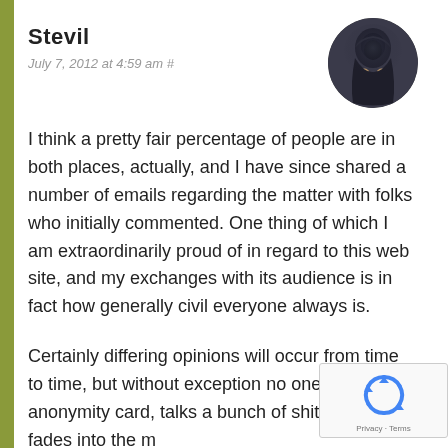Stevil
July 7, 2012 at 4:59 am #
[Figure (photo): Circular avatar photo of a dark-hooded figure with hands raised]
I think a pretty fair percentage of people are in both places, actually, and I have since shared a number of emails regarding the matter with folks who initially commented. One thing of which I am extraordinarily proud of in regard to this web site, and my exchanges with its audience is in fact how generally civil everyone always is.
Certainly differing opinions will occur from time to time, but without exception no one plays the anonymity card, talks a bunch of shit and then fades into the m... In fact, in the nearly six years betwe...
[Figure (logo): Google reCAPTCHA badge with Privacy and Terms links]